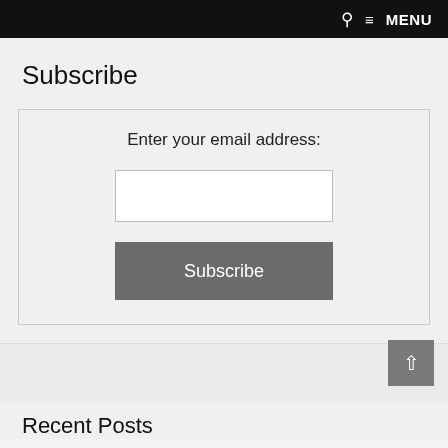MENU
Subscribe
Enter your email address:
Subscribe
Recent Posts